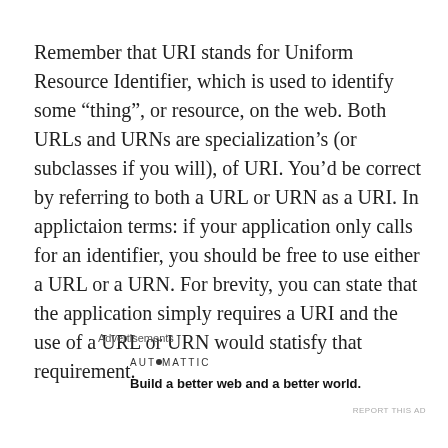Remember that URI stands for Uniform Resource Identifier, which is used to identify some “thing”, or resource, on the web. Both URLs and URNs are specialization’s (or subclasses if you will), of URI. You’d be correct by referring to both a URL or URN as a URI. In applictaion terms: if your application only calls for an identifier, you should be free to use either a URL or a URN. For brevity, you can state that the application simply requires a URI and the use of a URL or URN would statisfy that requirement.
Advertisements
[Figure (other): Automattic logo and tagline: AUT⦿MATTIC — Build a better web and a better world.]